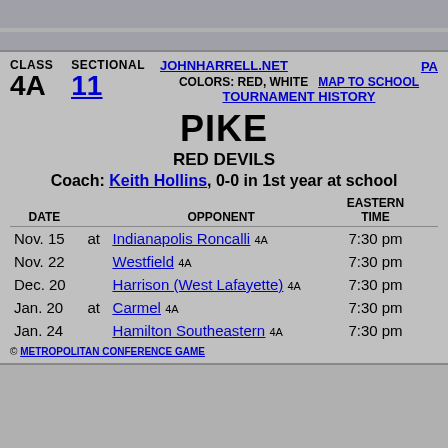CLASS  SECTIONAL  JOHNHARRELL.NET  PA
COLORS: RED, WHITE   MAP TO SCHOOL
TOURNAMENT HISTORY
PIKE
RED DEVILS
Coach: Keith Hollins, 0-0 in 1st year at school
| DATE |  | OPPONENT | EASTERN TIME |  |
| --- | --- | --- | --- | --- |
| Nov. 15 | at | Indianapolis Roncalli 4A | 7:30 pm |  |
| Nov. 22 |  | Westfield 4A | 7:30 pm |  |
| Dec. 20 |  | Harrison (West Lafayette) 4A | 7:30 pm |  |
| Jan. 20 | at | Carmel 4A | 7:30 pm |  |
| Jan. 24 |  | Hamilton Southeastern 4A | 7:30 pm |  |
© METROPOLITAN CONFERENCE GAME